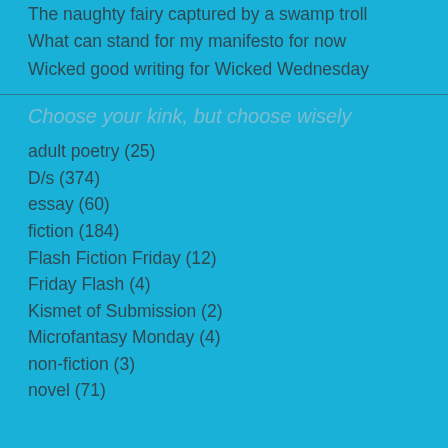The naughty fairy captured by a swamp troll
What can stand for my manifesto for now
Wicked good writing for Wicked Wednesday
Choose your kink, but choose wisely
adult poetry (25)
D/s (374)
essay (60)
fiction (184)
Flash Fiction Friday (12)
Friday Flash (4)
Kismet of Submission (2)
Microfantasy Monday (4)
non-fiction (3)
novel (71)